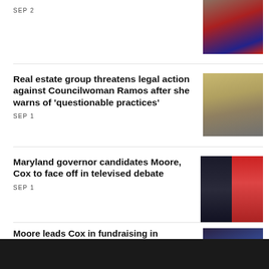SEP 2
[Figure (photo): Partial view of a government building dome with a flag, cropped at top]
Real estate group threatens legal action against Councilwoman Ramos after she warns of 'questionable practices'
SEP 1
[Figure (photo): Exterior of a grand government/municipal building with classical architecture]
Maryland governor candidates Moore, Cox to face off in televised debate
SEP 1
[Figure (photo): Split photo: left side shows a Black man speaking at a podium, right side shows another candidate gesturing]
Moore leads Cox in fundraising in Maryland governor's race
AUG 31
[Figure (photo): A man in a dark suit with a purple tie, speaking or gesturing, dark background]